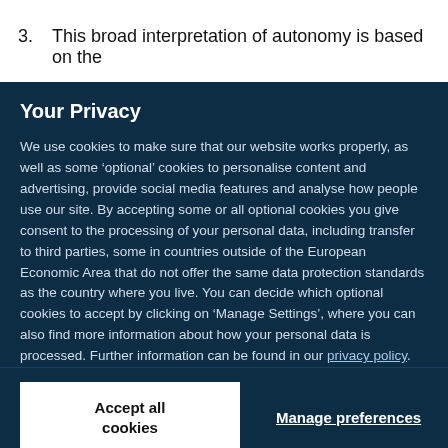3.  This broad interpretation of autonomy is based on the
Your Privacy
We use cookies to make sure that our website works properly, as well as some ‘optional’ cookies to personalise content and advertising, provide social media features and analyse how people use our site. By accepting some or all optional cookies you give consent to the processing of your personal data, including transfer to third parties, some in countries outside of the European Economic Area that do not offer the same data protection standards as the country where you live. You can decide which optional cookies to accept by clicking on ‘Manage Settings’, where you can also find more information about how your personal data is processed. Further information can be found in our privacy policy.
Accept all cookies
Manage preferences